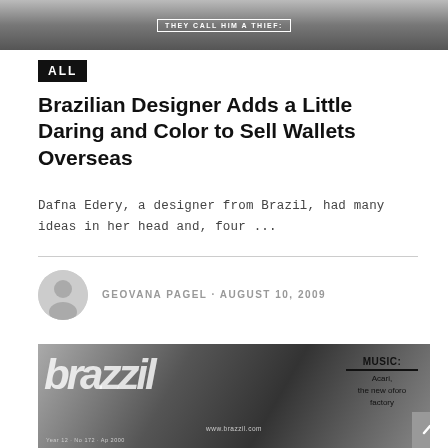[Figure (photo): Black and white photo at the top of the page, partially cropped, showing text overlay 'THEY CALL HIM A THIEF']
ALL
Brazilian Designer Adds a Little Daring and Color to Sell Wallets Overseas
Dafna Edery, a designer from Brazil, had many ideas in her head and, four ...
GEOVANA PAGEL · AUGUST 10, 2009
[Figure (photo): Black and white magazine cover of 'brazzil' magazine showing a close-up face, with 'MUSIC: Acari, the new oforo factory' text on the right, and website www.brazzil.com and issue info at the bottom]